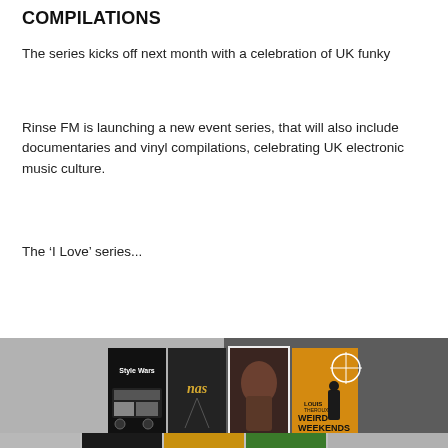COMPILATIONS
The series kicks off next month with a celebration of UK funky
Rinse FM is launching a new event series, that will also include documentaries and vinyl compilations, celebrating UK electronic music culture.
The ‘I Love’ series...
[Figure (photo): A collage of music documentary and album covers including Style Wars, Nas, Tupac Resurrection, and Louis Theroux Weird Weekends, displayed on a grey background with a darker grey right half. A bottom strip shows partial thumbnails.]